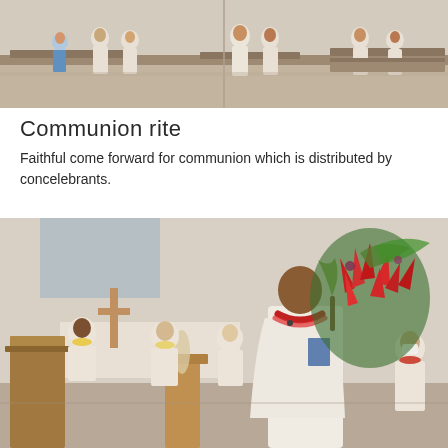[Figure (photo): Church interior scene showing people in white robes standing in aisles during a communion rite, with wooden pews visible]
Communion rite
Faithful come forward for communion which is distributed by concelebrants.
[Figure (photo): A priest in white vestments wearing a floral lei stands at the front of a church holding a booklet and palm frond, with a large arrangement of tropical red flowers behind him. Other priests in white vestments sit in the background near an altar. A wooden pulpit is on the left.]